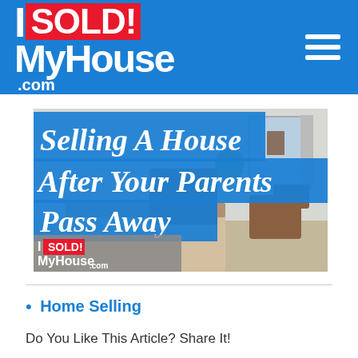I SOLD! MyHouse .com
[Figure (photo): Article banner image showing a bedroom interior with text overlay: 'Selling A House After Your Parents Pass Away' with ISoldMyHouse.com logo]
Home Selling
Do You Like This Article? Share It!